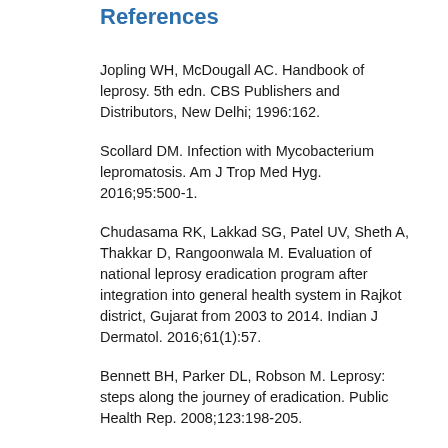References
Jopling WH, McDougall AC. Handbook of leprosy. 5th edn. CBS Publishers and Distributors, New Delhi; 1996:162.
Scollard DM. Infection with Mycobacterium lepromatosis. Am J Trop Med Hyg. 2016;95:500-1.
Chudasama RK, Lakkad SG, Patel UV, Sheth A, Thakkar D, Rangoonwala M. Evaluation of national leprosy eradication program after integration into general health system in Rajkot district, Gujarat from 2003 to 2014. Indian J Dermatol. 2016;61(1):57.
Bennett BH, Parker DL, Robson M. Leprosy: steps along the journey of eradication. Public Health Rep. 2008;123:198-205.
Chauhan D, Kamal R, Saxena A. Therapy of leprosy-present strategies and recent trends with immunotherapy. J Dermatol Res Ther.